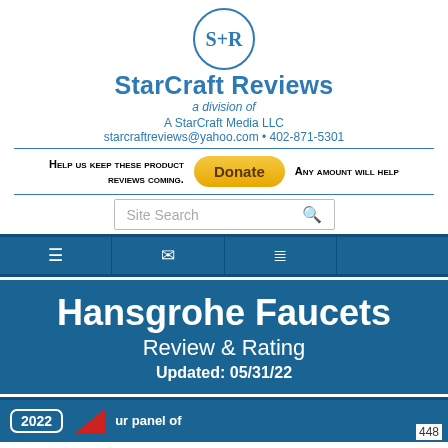[Figure (logo): StarCraft Reviews logo: circle with S+R text, brand name and division info]
A StarCraft Media LLC
starcraftreviews@yahoo.com • 402-871-5301
Help us keep these product reviews coming. [Donate] Any amount will help
Site Search
Hansgrohe Faucets
Review & Rating
Updated: 05/31/22
448